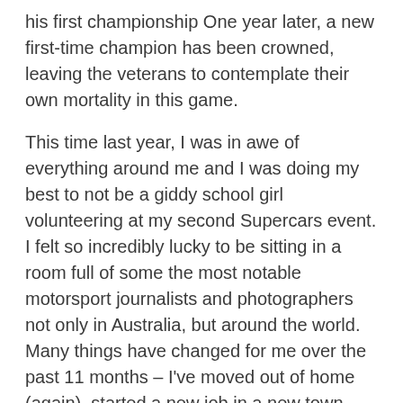his first championship  One year later, a new first-time champion has been crowned, leaving the veterans to contemplate their own mortality in this game.
This time last year, I was in awe of everything around me and I was doing my best to not be a giddy school girl volunteering at my second Supercars event. I felt so incredibly lucky to be sitting in a room full of some the most notable motorsport journalists and photographers not only in Australia, but around the world. Many things have changed for me over the past 11 months – I've moved out of home (again), started a new job in a new town, made new friends and celebrated my first two-year anniversary with a boyfriend. I've learned a few life lessons, and there are a couple that are taking longer to sink in that I would like.
This time last year I had just finished my degree and was eagerly anticipating life after university.